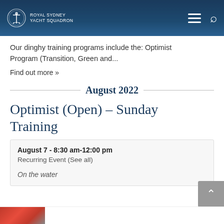ROYAL SYDNEY YACHT SQUADRON
Our dinghy training programs include the: Optimist Program (Transition, Green and...
Find out more »
August 2022
Optimist (Open) – Sunday Training
August 7 - 8:30 am-12:00 pm
Recurring Event (See all)
On the water